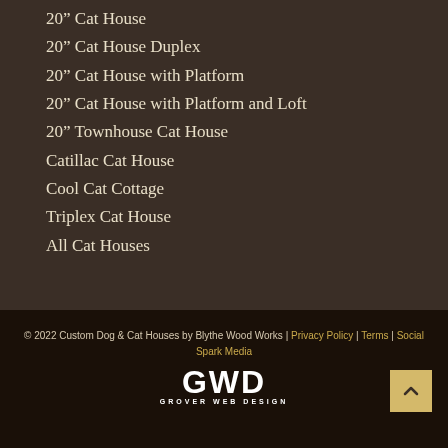20" Cat House
20" Cat House Duplex
20" Cat House with Platform
20" Cat House with Platform and Loft
20" Townhouse Cat House
Catillac Cat House
Cool Cat Cottage
Triplex Cat House
All Cat Houses
© 2022 Custom Dog & Cat Houses by Blythe Wood Works | Privacy Policy | Terms | Social Spark Media